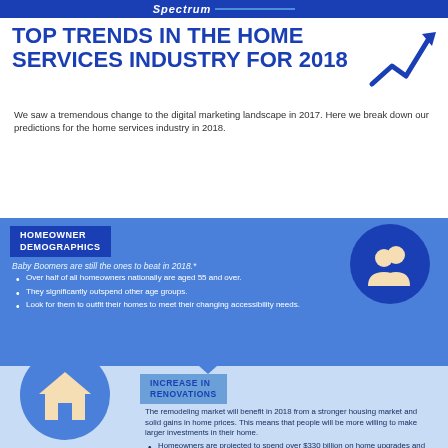Spectrum
TOP TRENDS IN THE HOME SERVICES INDUSTRY FOR 2018
We saw a tremendous change to the digital marketing landscape in 2017. Here we break down our predictions for the home services industry in 2018.
HOMEOWNER DEMOGRAPHICS
Baby Boomers are still the ones to beat in 2018.*
Over half of all homeowners nationally are aged 55 and over.
They significantly outspend other age groups.
Look for them to outfit their homes to meet their changing accessibility needs.
[Figure (illustration): Two people silhouette icon in white on blue circle background]
INCREASE IN RENOVATIONS
The remodeling market will benefit in 2018 from a stronger housing market and solid gains in home prices. This means that people will be more willing to make larger investments in their home.
Homeowners are projected to spend over $330 billion on home upgrades and replacements.
[Figure (illustration): House icon in cream/beige on blue circle background]